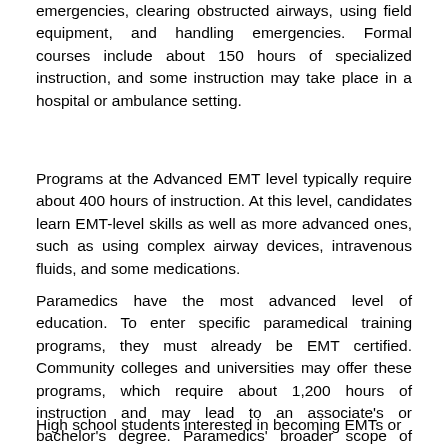emergencies, clearing obstructed airways, using field equipment, and handling emergencies. Formal courses include about 150 hours of specialized instruction, and some instruction may take place in a hospital or ambulance setting.
Programs at the Advanced EMT level typically require about 400 hours of instruction. At this level, candidates learn EMT-level skills as well as more advanced ones, such as using complex airway devices, intravenous fluids, and some medications.
Paramedics have the most advanced level of education. To enter specific paramedical training programs, they must already be EMT certified. Community colleges and universities may offer these programs, which require about 1,200 hours of instruction and may lead to an associate's or bachelor's degree. Paramedics' broader scope of practice may include stitching wounds or administering intravenous medications.
High school students interested in becoming EMTs or